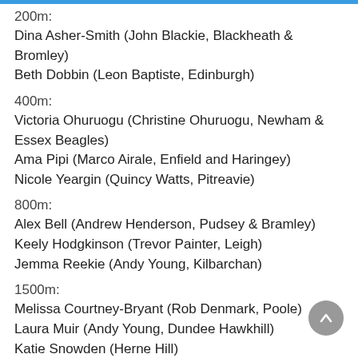200m:
Dina Asher-Smith (John Blackie, Blackheath & Bromley)
Beth Dobbin (Leon Baptiste, Edinburgh)
400m:
Victoria Ohuruogu (Christine Ohuruogu, Newham & Essex Beagles)
Ama Pipi (Marco Airale, Enfield and Haringey)
Nicole Yeargin (Quincy Watts, Pitreavie)
800m:
Alex Bell (Andrew Henderson, Pudsey & Bramley)
Keely Hodgkinson (Trevor Painter, Leigh)
Jemma Reekie (Andy Young, Kilbarchan)
1500m:
Melissa Courtney-Bryant (Rob Denmark, Poole)
Laura Muir (Andy Young, Dundee Hawkhill)
Katie Snowden (Herne Hill)